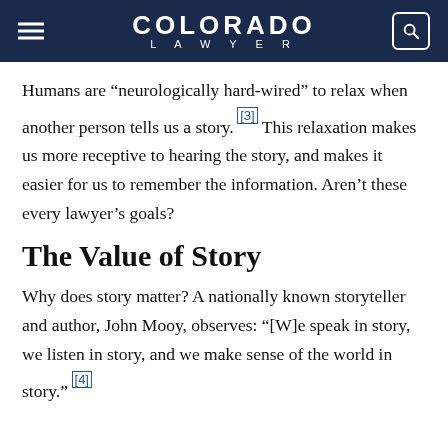COLORADO LAWYER
Humans are “neurologically hard-wired” to relax when another person tells us a story.[3] This relaxation makes us more receptive to hearing the story, and makes it easier for us to remember the information. Aren’t these every lawyer’s goals?
The Value of Story
Why does story matter? A nationally known storyteller and author, John Mooy, observes: “[W]e speak in story, we listen in story, and we make sense of the world in story.”[4]